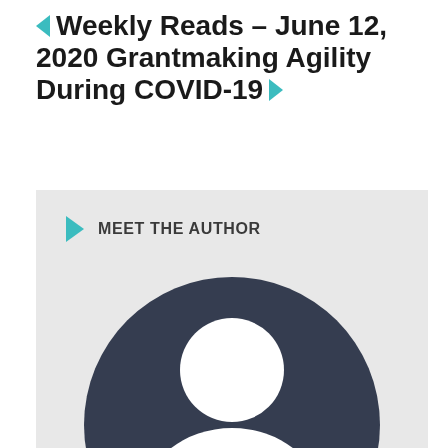Weekly Reads – June 12, 2020 Grantmaking Agility During COVID-19
[Figure (illustration): A light grey box labeled 'MEET THE AUTHOR' with a teal right-pointing arrow icon, containing a large dark navy circle with a white generic person/avatar silhouette (head circle and body arc).]